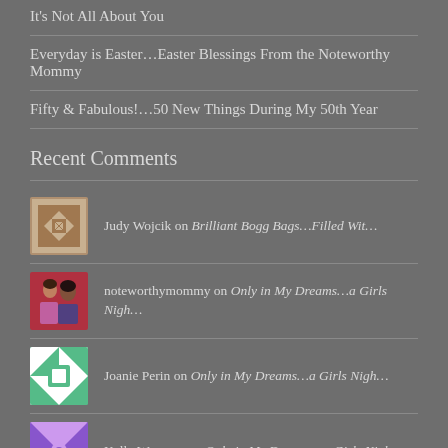It's Not All About You
Everyday is Easter…Easter Blessings From the Noteworthy Mommy
Fifty & Fabulous!…50 New Things During My 50th Year
Recent Comments
Judy Wojcik on Brilliant Bogg Bags…Filled Wit…
noteworthymommy on Only in My Dreams…a Girls Nigh…
Joanie Perin on Only in My Dreams…a Girls Nigh…
Kelly Wegener on Only in My Dreams…a Girls Nigh…
[Figure (other): Partial avatar image at bottom of page]